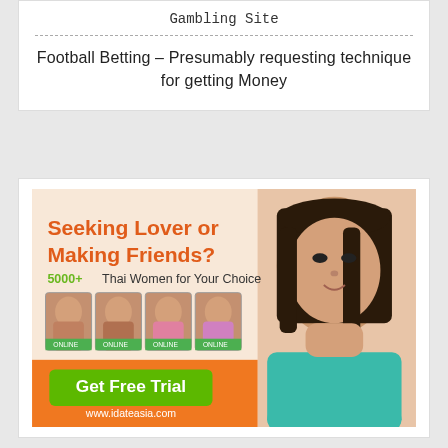Gambling Site
Football Betting – Presumably requesting technique for getting Money
[Figure (photo): Advertisement banner for iDateAsia.com dating site featuring text 'Seeking Lover or Making Friends? 5000+ Thai Women for Your Choice', thumbnails of women labeled ONLINE, a 'Get Free Trial' green button, and website URL www.idateasia.com, with a photo of a young woman on the right side.]